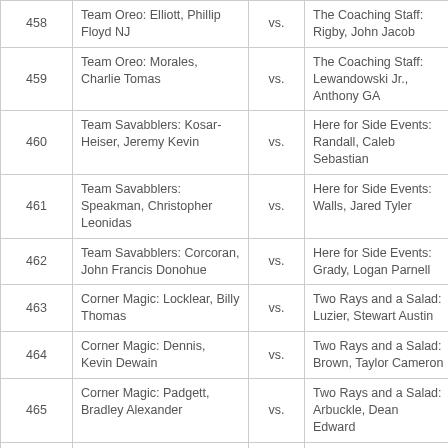| # | Team / Player | vs. | Opponent |
| --- | --- | --- | --- |
| 458 | Team Oreo: Elliott, Phillip Floyd NJ | vs. | The Coaching Staff: Rigby, John Jacob |
| 459 | Team Oreo: Morales, Charlie Tomas | vs. | The Coaching Staff: Lewandowski Jr., Anthony GA |
| 460 | Team Savabblers: Kosar-Heiser, Jeremy Kevin | vs. | Here for Side Events: Randall, Caleb Sebastian |
| 461 | Team Savabblers: Speakman, Christopher Leonidas | vs. | Here for Side Events: Walls, Jared Tyler |
| 462 | Team Savabblers: Corcoran, John Francis Donohue | vs. | Here for Side Events: Grady, Logan Parnell |
| 463 | Corner Magic: Locklear, Billy Thomas | vs. | Two Rays and a Salad: Luzier, Stewart Austin |
| 464 | Corner Magic: Dennis, Kevin Dewain | vs. | Two Rays and a Salad: Brown, Taylor Cameron |
| 465 | Corner Magic: Padgett, Bradley Alexander | vs. | Two Rays and a Salad: Arbuckle, Dean Edward |
| 466 | Team Heck No: Golden, Jacoby Dawn | vs. | Team Lefties: Moore II, Richard Guerry |
| 467 | Team Heck No: Carter... | vs. | Team Lefties: Canard... |